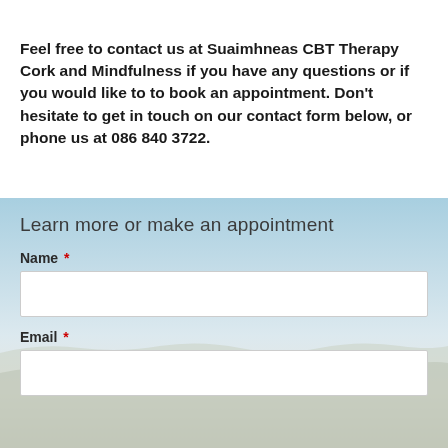Feel free to contact us at Suaimhneas CBT Therapy Cork and Mindfulness if you have any questions or if you would like to to book an appointment. Don't hesitate to get in touch on our contact form below, or phone us at 086 840 3722.
Learn more or make an appointment
Name *
Email *